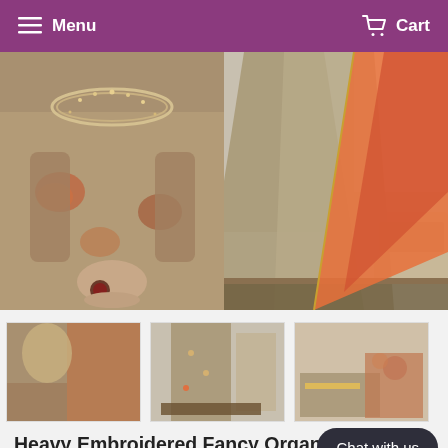Menu   Cart
[Figure (photo): Two product photos of a heavy embroidered fancy organza maxi dress. Left image shows close-up of the embroidered bodice with jewel neckline and beaded embroidery on khaki/grey fabric. Right image shows full skirt of the dress with orange and red dupatta, khaki embroidered maxi skirt.]
[Figure (photo): Three thumbnail images of the dress product: first thumbnail shows model wearing the full outfit, second shows the dress laid flat displaying embroidery, third shows fabric swatches and accessories.]
Heavy Embroidered Fancy Organza Maxi Dress (DZ14522)
DressyZone.com
Rs 4,350  Rs 6,000